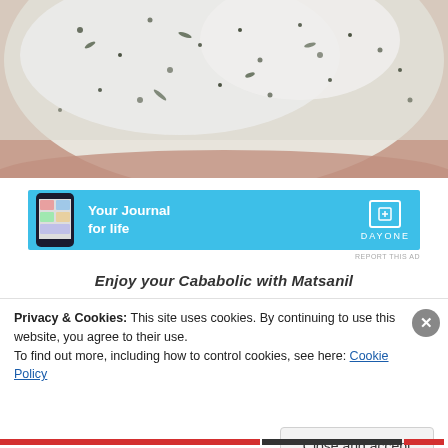[Figure (photo): Close-up photo of food with white creamy sauce containing green herb flecks, served in a bowl]
[Figure (other): Advertisement banner for DayOne journal app with sky-blue background, phone mockup on left, 'Your Journal for life' text, and DayOne logo on right]
REPORT THIS AD
Enjoy your Cababolic with Matsanil
Privacy & Cookies: This site uses cookies. By continuing to use this website, you agree to their use.
To find out more, including how to control cookies, see here: Cookie Policy
Close and accept